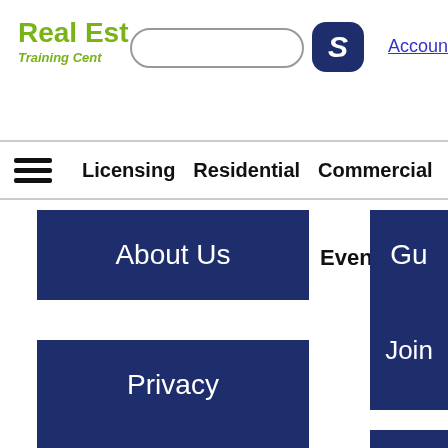Real Estate Training Center
Account
Licensing  Residential  Commercial
[Figure (screenshot): Navigation menu with hamburger icon and nav links: Licensing, Residential, Commercial]
About Us
Events
Privacy
Join
Affiliate Program